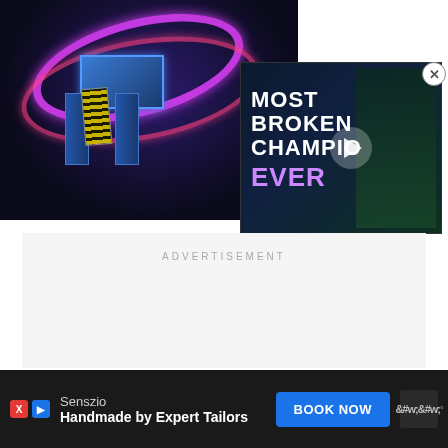[Figure (screenshot): Gaming screenshot showing a sci-fi/futuristic machine with neon pink and purple rings, blue metallic box, yellow coil/spring, and dark background with blue pipes. Overlaid video thumbnail showing 'MOST BROKEN CHAMPION EVER' text with a play button and fantasy character, with a close (X) button in the top right corner.]
ADVERTISEMENT
[Figure (screenshot): Bottom advertisement bar: Senszio brand, 'Handmade by Expert Tailors' tagline, BOOK NOW button, and W logo. Ad icons X and D visible on left.]